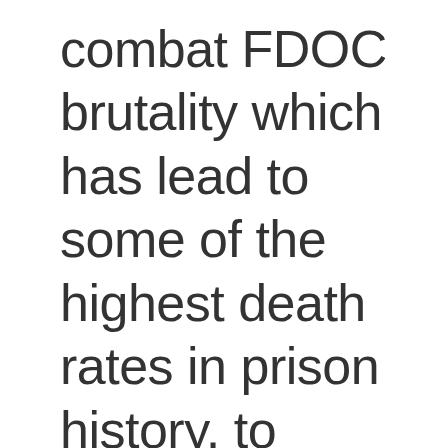combat FDOC brutality which has lead to some of the highest death rates in prison history, to honor the moratorium on